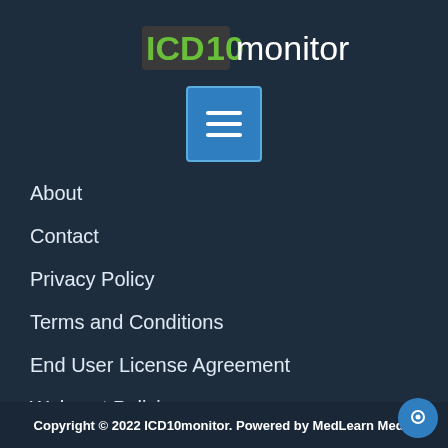[Figure (logo): ICD10monitor logo with green ICD10 text and white monitor text]
[Figure (illustration): Blue square button with three white horizontal lines (hamburger menu icon)]
About
Contact
Privacy Policy
Terms and Conditions
End User License Agreement
Webcast Policies
Refund and Returns Policy
Copyright © 2022 ICD10monitor. Powered by MedLearn Media